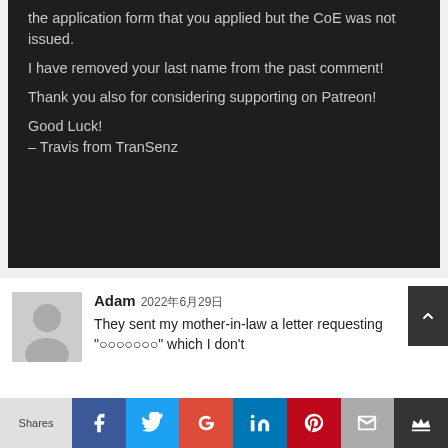the application form that you applied but the CoE was not issued. I have removed your last name from the past comment! Thank you also for considering supporting on Patreon! Good Luck! – Travis from TranSenz
Adam 2022年6月29日 They sent my mother-in-law a letter requesting "○○○○○○○" which I don't
Shares